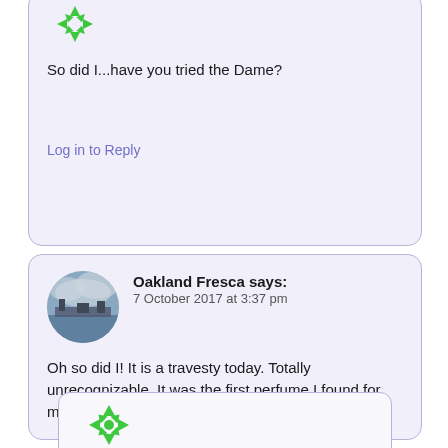So did I...have you tried the Dame?
Log in to Reply
Oakland Fresca says:
7 October 2017 at 3:37 pm
Oh so did I! It is a travesty today. Totally unrecognizable. It was the first perfume I found for myself and bought for myself in high school.
Log in to Reply